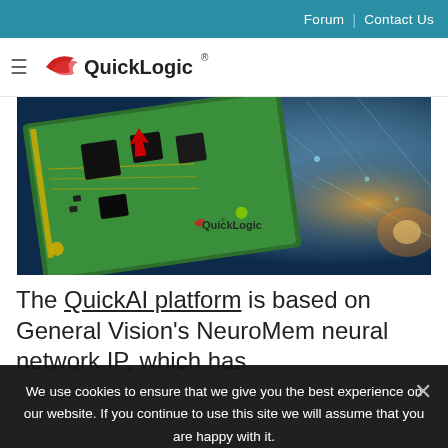Forum | Contact Us
[Figure (logo): QuickLogic logo with hamburger menu icon]
[Figure (photo): QuickLogic AI development board (green PCB with components) overlaid on a neural network glowing background, with QuickLogic branding]
The QuickAI platform is based on General Vision's NeuroMem neural network IP, which has
We use cookies to ensure that we give you the best experience on our website. If you continue to use this site we will assume that you are happy with it.
Ok